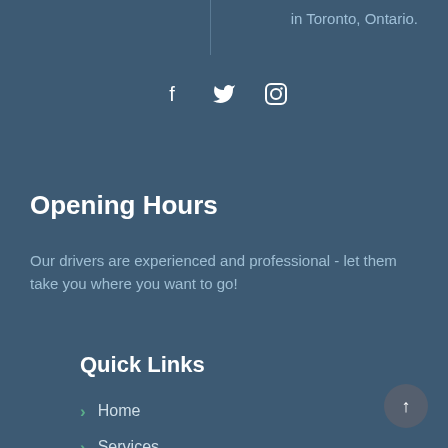in Toronto, Ontario.
[Figure (infographic): Social media icons: Facebook, Twitter, Instagram]
Opening Hours
Our drivers are experienced and professional - let them take you where you want to go!
Quick Links
Home
Services